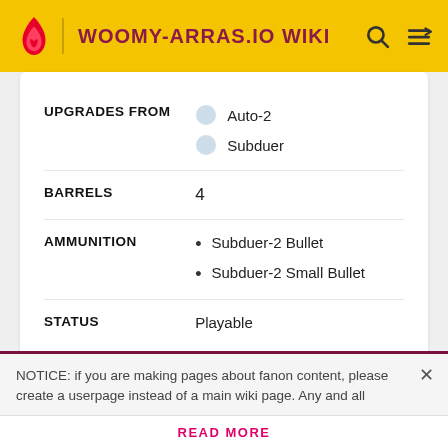WOOMY-ARRAS.IO WIKI
| Field | Value |
| --- | --- |
| UPGRADES FROM | Auto-2
Subduer |
| BARRELS | 4 |
| AMMUNITION | Subduer-2 Bullet
Subduer-2 Small Bullet |
| STATUS | Playable |
NOTICE: if you are making pages about fanon content, please create a userpage instead of a main wiki page. Any and all
READ MORE